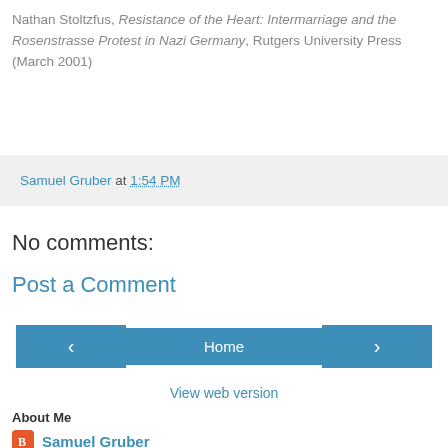Nathan Stoltzfus, Resistance of the Heart: Intermarriage and the Rosenstrasse Protest in Nazi Germany, Rutgers University Press (March 2001)
Samuel Gruber at 1:54 PM
No comments:
Post a Comment
Home
View web version
About Me
Samuel Gruber